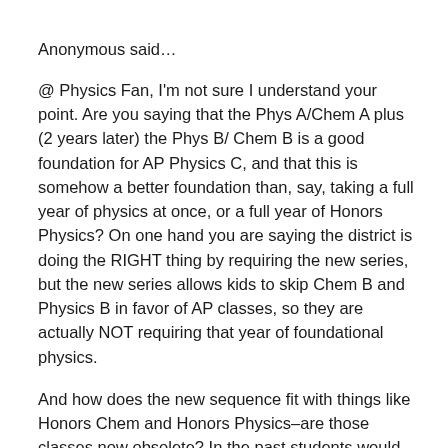Anonymous said…
@ Physics Fan, I'm not sure I understand your point. Are you saying that the Phys A/Chem A plus (2 years later) the Phys B/ Chem B is a good foundation for AP Physics C, and that this is somehow a better foundation than, say, taking a full year of physics at once, or a full year of Honors Physics? On one hand you are saying the district is doing the RIGHT thing by requiring the new series, but the new series allows kids to skip Chem B and Physics B in favor of AP classes, so they are actually NOT requiring that year of foundational physics.
And how does the new sequence fit with things like Honors Chem and Honors Physics–are those classes now obsolete? In the past students would often take either the basic version of them or the honors version, but if everyone is going to be forces to take the "accessible" versions, the Honors versions seem like they are not needed. If would look